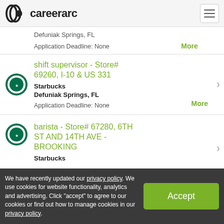careerarc
Defuniak Springs, FL
Application Deadline: None
shift supervisor - Store# 69260, I-10 & US 331 | Starbucks | Defuniak Springs, FL | Application Deadline: None | More
barista - Store# 67280, 6TH ST AND 14TH AVE - BROOKING | Starbucks
We have recently updated our privacy policy. We use cookies for website functionality, analytics and advertising. Click "accept" to agree to our cookies or find out how to manage cookies in our privacy policy.